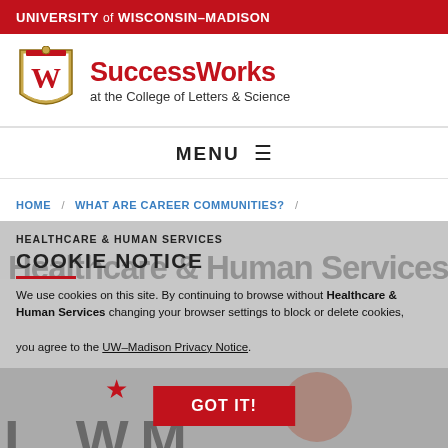UNIVERSITY of WISCONSIN-MADISON
[Figure (logo): UW-Madison SuccessWorks at the College of Letters & Science logo with shield emblem]
MENU ☰
HOME / WHAT ARE CAREER COMMUNITIES? /
HEALTHCARE & HUMAN SERVICES
COOKIE NOTICE
We use cookies on this site. By continuing to browse without changing your browser settings to block or delete cookies, you agree to the UW–Madison Privacy Notice.
[Figure (screenshot): Bottom section showing Healthcare & Human Services page with GOT IT! button, red star graphic, and partially visible large typography and person photo]